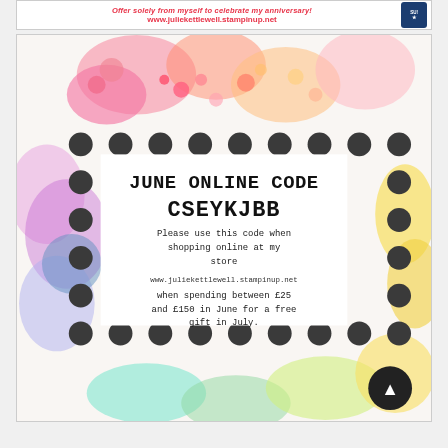Offer solely from myself to celebrate my anniversary! www.juliekettlewell.stampinup.net
[Figure (infographic): Promotional image with colorful floral border and dark circular dot border, containing a white text box with June online code CSEYKJBB for Stampin Up store, surrounded by craft supplies and flowers.]